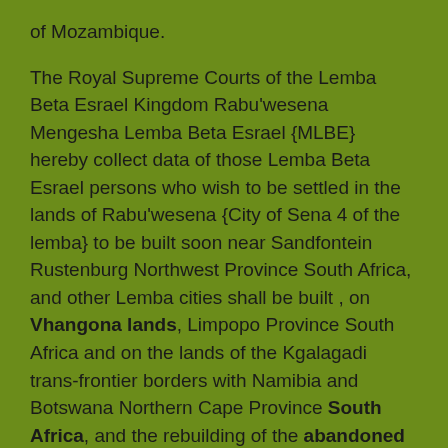of Mozambique.
The Royal Supreme Courts of the Lemba Beta Esrael Kingdom Rabu'wesena Mengesha Lemba Beta Esrael {MLBE} hereby collect data of those Lemba Beta Esrael persons who wish to be settled in the lands of Rabu'wesena {City of Sena 4 of the lemba} to be built soon near Sandfontein Rustenburg Northwest Province South Africa, and other Lemba cities shall be built , on Vhangona lands, Limpopo Province South Africa and on the lands of the Kgalagadi trans-frontier borders with Namibia and Botswana Northern Cape Province South Africa, and the rebuilding of the abandoned city of Sena 1 {Sanaw} Hadramaut Yemen, under His Imperial Majesty King Binyam Selamun, King of Lemba Beta Esrael.
This Honorable Kingdom, also endeavors to negotiate with the Honorable Government of Mozambique and the i